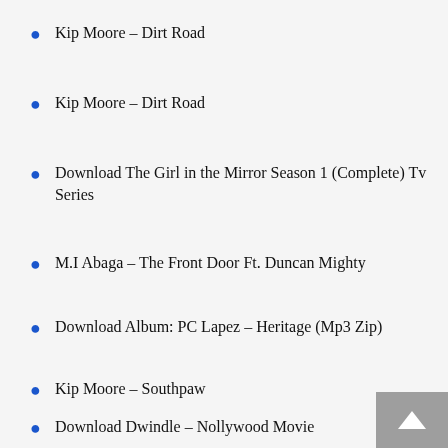Kip Moore – Dirt Road
Kip Moore – Dirt Road
Download The Girl in the Mirror Season 1 (Complete) Tv Series
M.I Abaga – The Front Door Ft. Duncan Mighty
Download Album: PC Lapez – Heritage (Mp3 Zip)
Kip Moore – Southpaw
Download Dwindle – Nollywood Movie